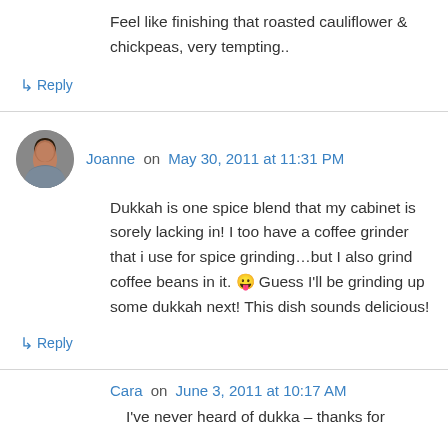Feel like finishing that roasted cauliflower & chickpeas, very tempting..
↳ Reply
Joanne on May 30, 2011 at 11:31 PM
Dukkah is one spice blend that my cabinet is sorely lacking in! I too have a coffee grinder that i use for spice grinding…but I also grind coffee beans in it. 😛 Guess I'll be grinding up some dukkah next! This dish sounds delicious!
↳ Reply
Cara on June 3, 2011 at 10:17 AM
I've never heard of dukka – thanks for